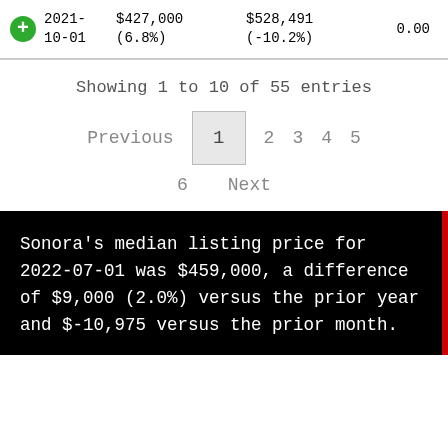| Date | Price | Comparison | Value |
| --- | --- | --- | --- |
| 2021-10-01 | $427,000 (6.8%) | $528,491 (-10.2%) | 0.00 |
Showing 1 to 10 of 55 entries
Previous  1  2  3  4  5
6  Next
Sonora's median listing price for 2022-07-01 was $459,000, a difference of $9,000 (2.0%) versus the prior year and $-10,975 versus the prior month.